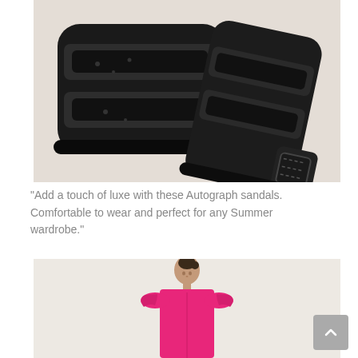[Figure (photo): Close-up overhead view of black leather and suede Autograph sandals with buckle strap against a beige/cream background]
“Add a touch of luxe with these Autograph sandals. Comfortable to wear and perfect for any Summer wardrobe.”
[Figure (photo): A woman wearing a bright pink/fuchsia dress with ruffle cap sleeves, cropped at the waist, standing against a light background]